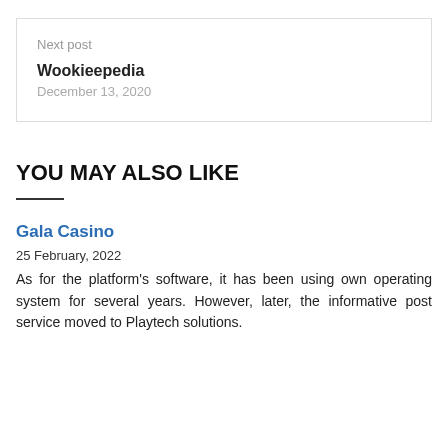Next post
Wookieepedia
December 13, 2020
YOU MAY ALSO LIKE
Gala Casino
25 February, 2022
As for the platform's software, it has been using own operating system for several years. However, later, the informative post service moved to Playtech solutions.